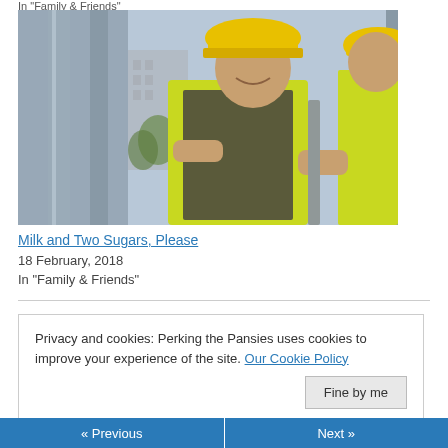In "Family & Friends"
[Figure (photo): Two construction workers wearing yellow hard hats and high-visibility green vests, standing next to metal columns on a building site. Urban background visible.]
Milk and Two Sugars, Please
18 February, 2018
In "Family & Friends"
Privacy and cookies: Perking the Pansies uses cookies to improve your experience of the site. Our Cookie Policy
Fine by me
« Previous  Next »